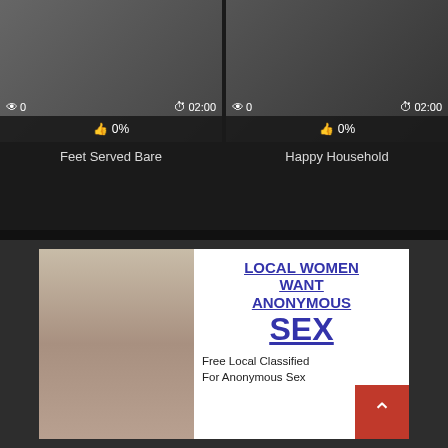[Figure (screenshot): Video thumbnail for 'Feet Served Bare' with 0 views, 02:00 duration, 0% rating]
Feet Served Bare
[Figure (screenshot): Video thumbnail for 'Happy Household' with 0 views, 02:00 duration, 0% rating]
Happy Household
[Figure (advertisement): Advertisement banner: LOCAL WOMEN WANT ANONYMOUS SEX - Free Local Classified For Anonymous Sex, with photo of a woman]